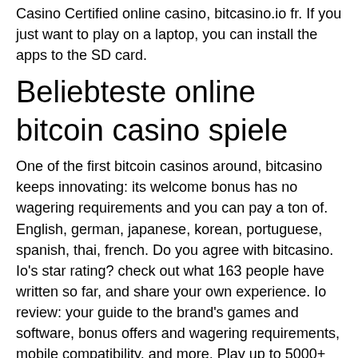Casino Certified online casino, bitcasino.io fr. If you just want to play on a laptop, you can install the apps to the SD card.
Beliebteste online bitcoin casino spiele
One of the first bitcoin casinos around, bitcasino keeps innovating: its welcome bonus has no wagering requirements and you can pay a ton of. English, german, japanese, korean, portuguese, spanish, thai, french. Do you agree with bitcasino. Io's star rating? check out what 163 people have written so far, and share your own experience. Io review: your guide to the brand's games and software, bonus offers and wagering requirements, mobile compatibility, and more. Play up to 5000+ online casino games with bitcoin, crypto or fiat currencies ($ € ¥). Fully licensed &amp; regulated fast cashouts ⚡ start quest &amp;